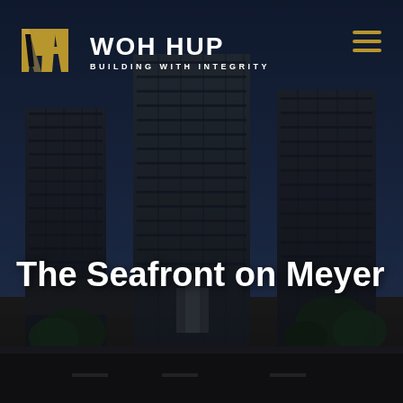[Figure (photo): Exterior photograph of The Seafront on Meyer residential towers — two tall dark-clad high-rise buildings under a blue sky with trees and a gated entrance driveway, dark overlay applied]
[Figure (logo): Woh Hup logo: stylized gold WH monogram with interlocking letters, white text 'WOH HUP' in bold caps, tagline 'BUILDING WITH INTEGRITY' in white spaced caps]
The Seafront on Meyer